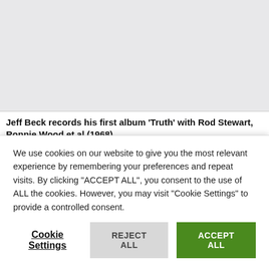[Figure (photo): Light grey rectangular image placeholder area at the top of the page]
Jeff Beck records his first album 'Truth' with Rod Stewart, Ronnie Wood et al (1968)
Jeff Beck 'Truth' this is visible but mostly obscured text
We use cookies on our website to give you the most relevant experience by remembering your preferences and repeat visits. By clicking "ACCEPT ALL", you consent to the use of ALL the cookies. However, you may visit "Cookie Settings" to provide a controlled consent.
Cookie Settings | REJECT ALL | ACCEPT ALL